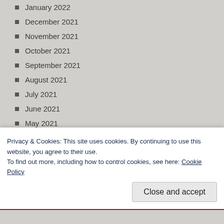January 2022
December 2021
November 2021
October 2021
September 2021
August 2021
July 2021
June 2021
May 2021
April 2021
March 2021
Privacy & Cookies: This site uses cookies. By continuing to use this website, you agree to their use.
To find out more, including how to control cookies, see here: Cookie Policy
Close and accept